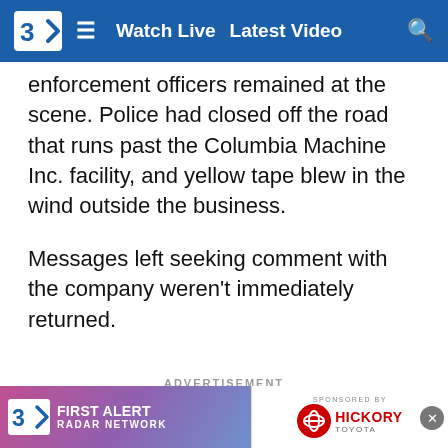Watch Live   Latest Video
enforcement officers remained at the scene. Police had closed off the road that runs past the Columbia Machine Inc. facility, and yellow tape blew in the wind outside the business.
Messages left seeking comment with the company weren't immediately returned.
ADVERTISEMENT
Smithsburg, a community of nearly 3,000 people, is just west of the Camp David presidential retreat and about 75 miles (…) manufactu… area
[Figure (screenshot): Bottom advertisement banner: First Alert Radar Network logo on left, Sponsored By Hickory Toyota on right, with close button.]